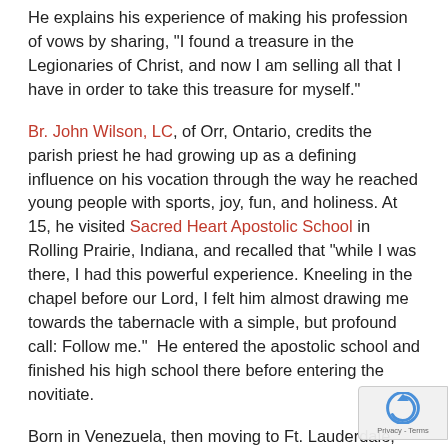He explains his experience of making his profession of vows by sharing, "I found a treasure in the Legionaries of Christ, and now I am selling all that I have in order to take this treasure for myself."
Br. John Wilson, LC, of Orr, Ontario, credits the parish priest he had growing up as a defining influence on his vocation through the way he reached young people with sports, joy, fun, and holiness. At 15, he visited Sacred Heart Apostolic School in Rolling Prairie, Indiana, and recalled that "while I was there, I had this powerful experience. Kneeling in the chapel before our Lord, I felt him almost drawing me towards the tabernacle with a simple, but profound call: Follow me."  He entered the apostolic school and finished his high school there before entering the novitiate.
Born in Venezuela, then moving to Ft. Lauderdale, Florida as a teenager, Br. Eduardo Urdaneta, LC, found the desire to become a priest take root in him at 15, after being on retreat with the Legionaries of Christ. The retreat ignited a new life of